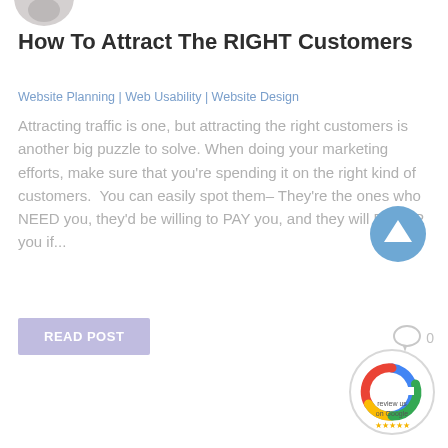[Figure (illustration): Partial circular avatar/profile image at top left, cropped]
How To Attract The RIGHT Customers
Website Planning | Web Usability | Website Design
Attracting traffic is one, but attracting the right customers is another big puzzle to solve. When doing your marketing efforts, make sure that you're spending it on the right kind of customers.  You can easily spot them– They're the ones who NEED you, they'd be willing to PAY you, and they will REFER you if...
[Figure (illustration): Blue circle with upward arrow icon, scroll-to-top button]
READ POST
[Figure (illustration): Comment bubble icon with count 0]
[Figure (logo): Google Review Us on Google badge with star rating]